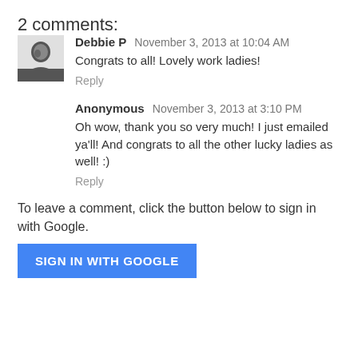2 comments:
Debbie P  November 3, 2013 at 10:04 AM
Congrats to all! Lovely work ladies!
Reply
Anonymous  November 3, 2013 at 3:10 PM
Oh wow, thank you so very much! I just emailed ya'll! And congrats to all the other lucky ladies as well! :)
Reply
To leave a comment, click the button below to sign in with Google.
SIGN IN WITH GOOGLE